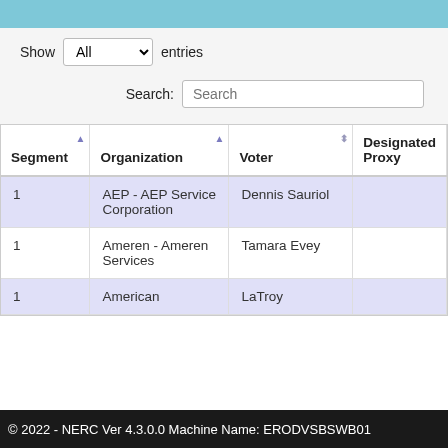| Segment | Organization | Voter | Designated Proxy |
| --- | --- | --- | --- |
| 1 | AEP - AEP Service Corporation | Dennis Sauriol |  |
| 1 | Ameren - Ameren Services | Tamara Evey |  |
| 1 | American | LaTroy |  |
© 2022 - NERC Ver 4.3.0.0 Machine Name: ERODVSBSWB01